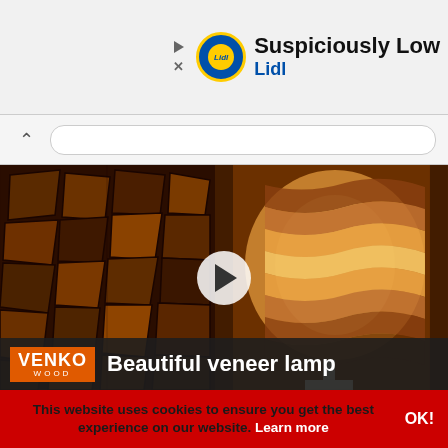[Figure (other): Lidl advertisement banner showing 'Suspiciously Low' tagline with Lidl logo]
[Figure (other): Browser chrome chevron and URL bar]
[Figure (other): Video thumbnail showing split image: left side wood mosaic wall, right side illuminated veneer lamp with wavy pattern. Play button in center. VENKO WOOD logo bar at bottom with title 'Beautiful veneer lamp']
This website uses cookies to ensure you get the best experience on our website. Learn more OK!